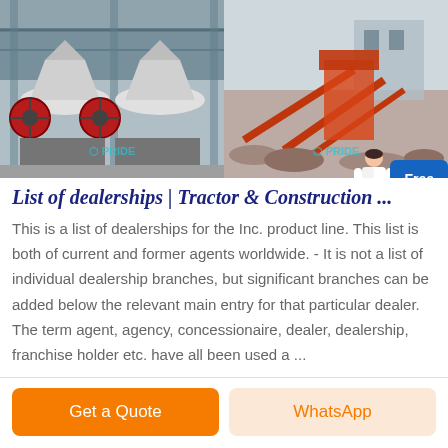[Figure (photo): Two industrial crushing machines (cone crushers) inside a factory on the left, and an outdoor quarry/construction site with conveyor belts and processing equipment on the right. Both images have a 'PRIDE' watermark.]
List of dealerships | Tractor & Construction ...
This is a list of dealerships for the Inc. product line. This list is both of current and former agents worldwide. - It is not a list of individual dealership branches, but significant branches can be added below the relevant main entry for that particular dealer. The term agent, agency, concessionaire, dealer, dealership, franchise holder etc. have all been used a ...